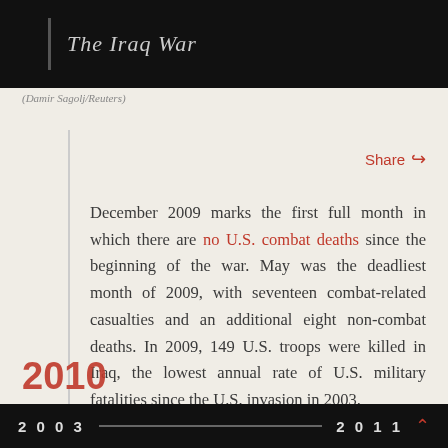The Iraq War
(Damir Sagolj/Reuters)
December 2009 marks the first full month in which there are no U.S. combat deaths since the beginning of the war. May was the deadliest month of 2009, with seventeen combat-related casualties and an additional eight non-combat deaths. In 2009, 149 U.S. troops were killed in Iraq, the lowest annual rate of U.S. military fatalities since the U.S. invasion in 2003.
2003 — 2011